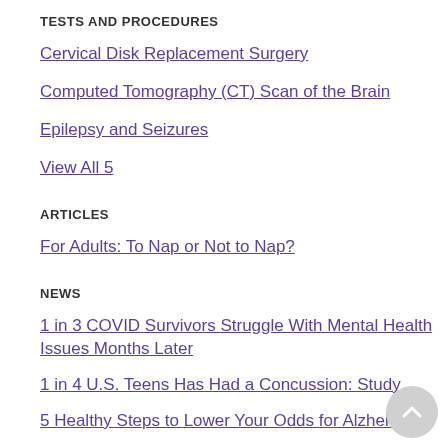TESTS AND PROCEDURES
Cervical Disk Replacement Surgery
Computed Tomography (CT) Scan of the Brain
Epilepsy and Seizures
View All 5
ARTICLES
For Adults: To Nap or Not to Nap?
NEWS
1 in 3 COVID Survivors Struggle With Mental Health Issues Months Later
1 in 4 U.S. Teens Has Had a Concussion: Study
5 Healthy Steps to Lower Your Odds for Alzheimer's